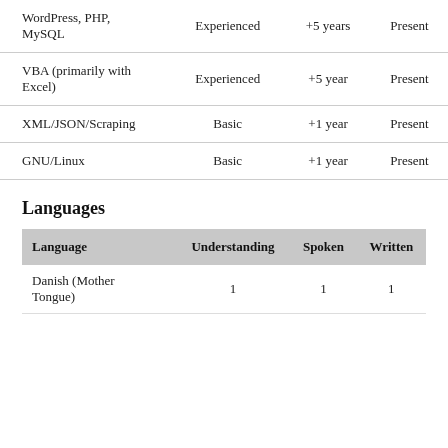|  |  |  |  |
| --- | --- | --- | --- |
| WordPress, PHP, MySQL | Experienced | +5 years | Present |
| VBA (primarily with Excel) | Experienced | +5 year | Present |
| XML/JSON/Scraping | Basic | +1 year | Present |
| GNU/Linux | Basic | +1 year | Present |
Languages
| Language | Understanding | Spoken | Written |
| --- | --- | --- | --- |
| Danish (Mother Tongue) | 1 | 1 | 1 |